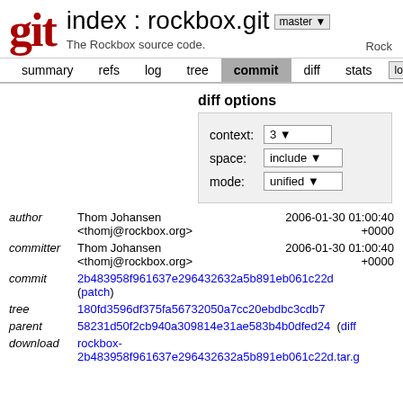git  index : rockbox.git  master  Rock  The Rockbox source code.
summary  refs  log  tree  commit  diff  stats  log
diff options
context: 3
space: include
mode: unified
| field | value | date |
| --- | --- | --- |
| author | Thom Johansen <thomj@rockbox.org> | 2006-01-30 01:00:40 +0000 |
| committer | Thom Johansen <thomj@rockbox.org> | 2006-01-30 01:00:40 +0000 |
| commit | 2b483958f961637e296432632a5b891eb061c22d (patch) |  |
| tree | 180fd3596df375fa56732050a7cc20ebdbc3cdb7 |  |
| parent | 58231d50f2cb940a309814e31ae583b4b0dfed24 (diff) |  |
| download | rockbox-2b483958f961637e296432632a5b891eb061c22d.tar.gz |  |